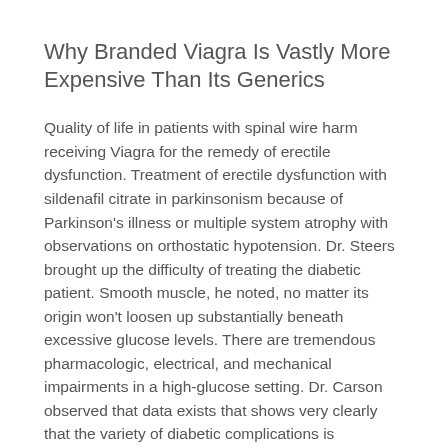Why Branded Viagra Is Vastly More Expensive Than Its Generics
Quality of life in patients with spinal wire harm receiving Viagra for the remedy of erectile dysfunction. Treatment of erectile dysfunction with sildenafil citrate in parkinsonism because of Parkinson's illness or multiple system atrophy with observations on orthostatic hypotension. Dr. Steers brought up the difficulty of treating the diabetic patient. Smooth muscle, he noted, no matter its origin won't loosen up substantially beneath excessive glucose levels. There are tremendous pharmacologic, electrical, and mechanical impairments in a high-glucose setting. Dr. Carson observed that data exists that shows very clearly that the variety of diabetic complications is correlated negatively with the efficacy of sildenafil.